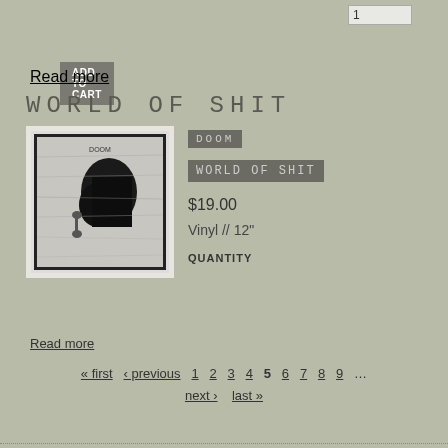1
ADD TO CART
Read more
WORLD OF SHIT
[Figure (photo): Album cover for DOOM - World of Shit, black and white abstract chaotic artwork]
DOOM
WORLD OF SHIT
$19.00
Vinyl // 12"
QUANTITY
1
ADD TO CART
Read more
« first  ‹ previous  1  2  3  4  5  6  7  8  9  …
next ›  last »